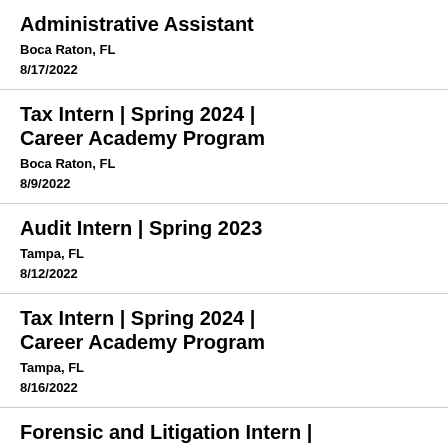Administrative Assistant
Boca Raton, FL
8/17/2022
Tax Intern | Spring 2024 | Career Academy Program
Boca Raton, FL
8/9/2022
Audit Intern | Spring 2023
Tampa, FL
8/12/2022
Tax Intern | Spring 2024 | Career Academy Program
Tampa, FL
8/16/2022
Forensic and Litigation Intern |